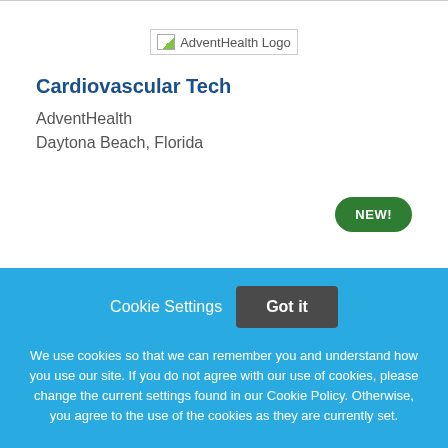[Figure (logo): AdventHealth Logo — broken image placeholder with text 'AdventHealth Logo']
Cardiovascular Tech
AdventHealth
Daytona Beach, Florida
NEW!
Cookie Settings
Got it
We use cookies so that we can remember you and understand how you use our site. If you do not agree with our use of cookies, please change the current settings found in our Cookie Policy. Otherwise, you agree to the use of the cookies as they are currently set.